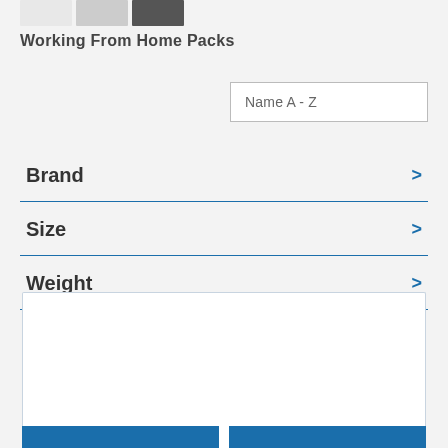[Figure (photo): Three small product thumbnail images in a horizontal strip at the top]
Working From Home Packs
Name A - Z
Brand >
Size >
Weight >
[Figure (screenshot): Product card area with two blue buttons partially visible at the bottom]